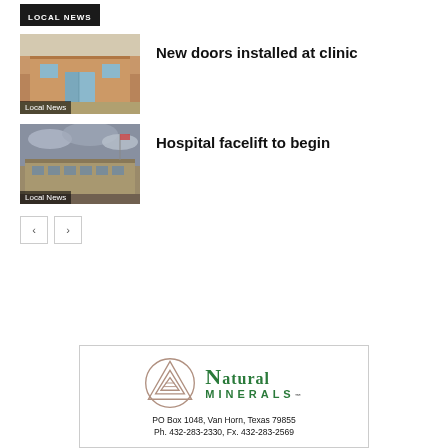LOCAL NEWS
[Figure (photo): Photo of clinic building exterior with brown brick walls and glass doors, labeled Local News]
New doors installed at clinic
[Figure (photo): Photo of hospital building exterior under cloudy sky, labeled Local News]
Hospital facelift to begin
[Figure (logo): Natural Minerals logo with circular triangle emblem in brown/rose gold and green text reading NATURAL MINERALS. PO Box 1048, Van Horn, Texas 79855. Ph. 432-283-2330, Fx. 432-283-2569]